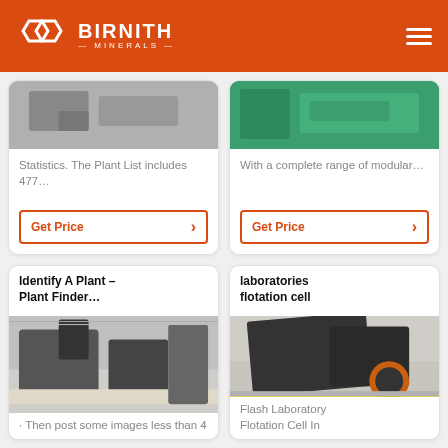BIRNITH MINERALS
Statistics. The Plant List includes 477…
Get Price
With a complete range of modular…
Get Price
Identify A Plant – Plant Finder…
[Figure (photo): Industrial mining/crushing machinery in a factory hall]
· Then post some images less than 4
laboratories flotation cell
[Figure (photo): Flash Laboratory Flotation Cell industrial equipment in a warehouse]
Flash Laboratory Flotation Cell In